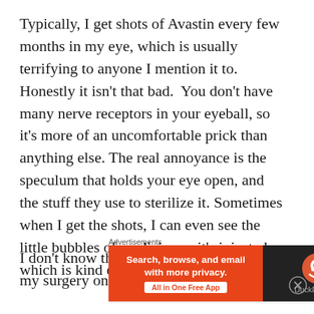Typically, I get shots of Avastin every few months in my eye, which is usually terrifying to anyone I mention it to.  Honestly it isn't that bad.  You don't have many nerve receptors in your eyeball, so it's more of an uncomfortable prick than anything else. The real annoyance is the speculum that holds your eye open, and the stuff they use to sterilize it. Sometimes when I get the shots, I can even see the little bubbles of medicine as it's injected, which is kind of cool.
I don't know the technical name for my surgery on
Advertisements
[Figure (screenshot): DuckDuckGo advertisement banner: orange left panel with bold white text 'Search, browse, and email with more privacy.' and a white button 'All in One Free App', dark right panel with DuckDuckGo logo and name.]